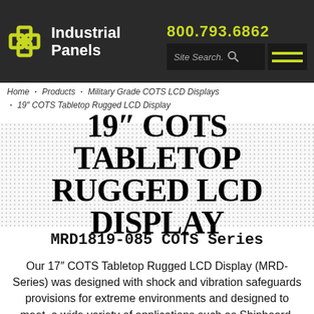Industrial Panels | 800.793.6862
Home · Products · Military Grade COTS LCD Displays · 19" COTS Tabletop Rugged LCD Display
19" COTS TABLETOP RUGGED LCD DISPLAY
MRD1819-085 COTS Series
Our 17" COTS Tabletop Rugged LCD Display (MRD-Series) was designed with shock and vibration safeguards provisions for extreme environments and designed to meet  a wide variety of applications such as Shipboard, Airborne and